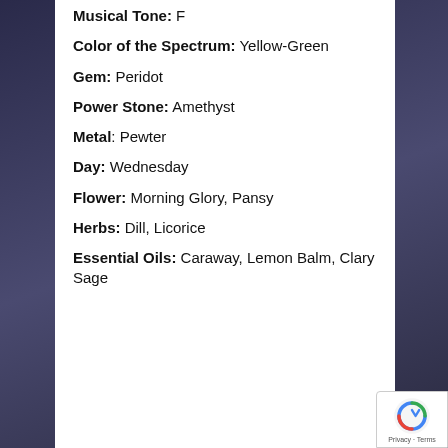Musical Tone: F
Color of the Spectrum: Yellow-Green
Gem: Peridot
Power Stone: Amethyst
Metal: Pewter
Day: Wednesday
Flower: Morning Glory, Pansy
Herbs: Dill, Licorice
Essential Oils: Caraway, Lemon Balm, Clary Sage